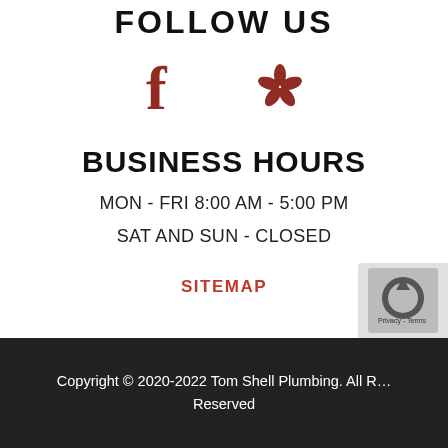FOLLOW US
[Figure (logo): Facebook icon (dark red) and Yelp icon (dark red) side by side]
BUSINESS HOURS
MON - FRI 8:00 AM - 5:00 PM
SAT AND SUN - CLOSED
SITEMAP
[Figure (logo): Reviews badge with star and R logo]
[Figure (logo): reCAPTCHA badge]
Copyright © 2020-2022 Tom Shell Plumbing. All Rights Reserved